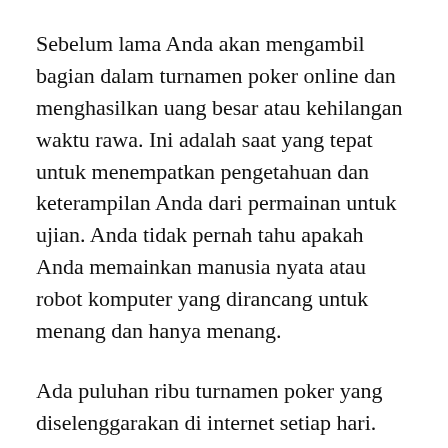Sebelum lama Anda akan mengambil bagian dalam turnamen poker online dan menghasilkan uang besar atau kehilangan waktu rawa. Ini adalah saat yang tepat untuk menempatkan pengetahuan dan keterampilan Anda dari permainan untuk ujian. Anda tidak pernah tahu apakah Anda memainkan manusia nyata atau robot komputer yang dirancang untuk menang dan hanya menang.
Ada puluhan ribu turnamen poker yang diselenggarakan di internet setiap hari. Anda akan menjadi salah satu dari lebih dari 60.000 pemain yang bermain poker online dan mencoba memenangkannya. Cara terbaik untuk memastikan peluang menang lebih besar di salah satu turnamen